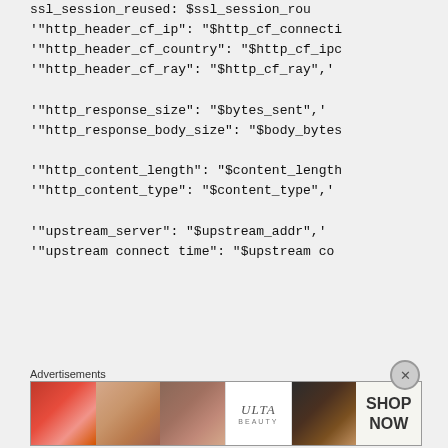ssl_session_reused: $ssl_session_reu
'"http_header_cf_ip": "$http_cf_connecti
'"http_header_cf_country": "$http_cf_ipc
'"http_header_cf_ray": "$http_cf_ray",'

'"http_response_size": "$bytes_sent",'
'"http_response_body_size": "$body_bytes

'"http_content_length": "$content_length
'"http_content_type": "$content_type",'

'"upstream_server": "$upstream_addr",'
'"upstream_connect_time": "$upstream_co
Advertisements
[Figure (other): Advertisement banner for Ulta Beauty showing cosmetic close-up images with 'SHOP NOW' text]